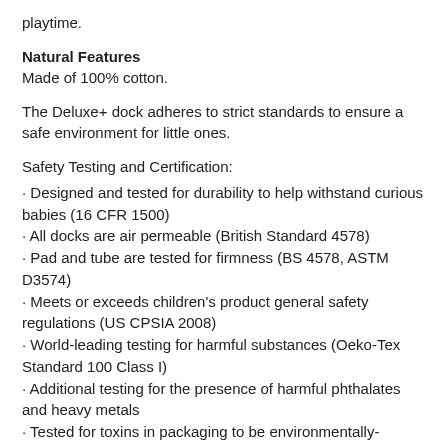playtime.
Natural Features
Made of 100% cotton.
The Deluxe+ dock adheres to strict standards to ensure a safe environment for little ones.
Safety Testing and Certification:
· Designed and tested for durability to help withstand curious babies (16 CFR 1500)
· All docks are air permeable (British Standard 4578)
· Pad and tube are tested for firmness (BS 4578, ASTM D3574)
· Meets or exceeds children's product general safety regulations (US CPSIA 2008)
· World-leading testing for harmful substances (Oeko-Tex Standard 100 Class I)
· Additional testing for the presence of harmful phthalates and heavy metals
· Tested for toxins in packaging to be environmentally-friendly
· Tested for flammability safety (16 CFR 1632)
· All docks are tested to stringent UK flammability regulations (British Standard 5852)
· Tested to more than 10 standards for fabric performance, including seam strength and fabric burst strength
· Tested for fabric requirements, including shrinkage and additional tests